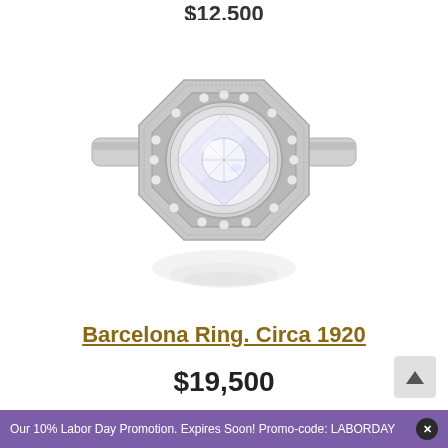$12,500
[Figure (photo): A vintage antique diamond ring photographed from above on a white background, showing a large round old European cut diamond center stone set in a platinum octagonal halo mounting with milgrain detailing and smaller diamonds surrounding the center stone, with a subtle reflection below.]
Barcelona Ring. Circa 1920
$19,500
Our 10% Labor Day Promotion. Expires Soon! Promo-code: LABORDAY